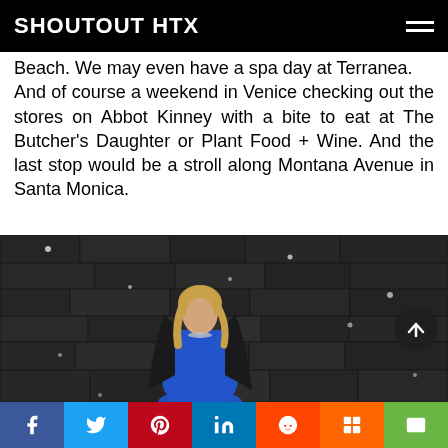SHOUTOUT HTX
Beach. We may even have a spa day at Terranea. And of course a weekend in Venice checking out the stores on Abbot Kinney with a bite to eat at The Butcher's Daughter or Plant Food + Wine. And the last stop would be a stroll along Montana Avenue in Santa Monica.
[Figure (photo): Woman in blue dress and dark jacket standing in front of a dark textured stone wall, looking upward. Small light bokeh dots scattered across the image.]
Social share bar: Facebook, Twitter, Pinterest, LinkedIn, Reddit, Mix, Email